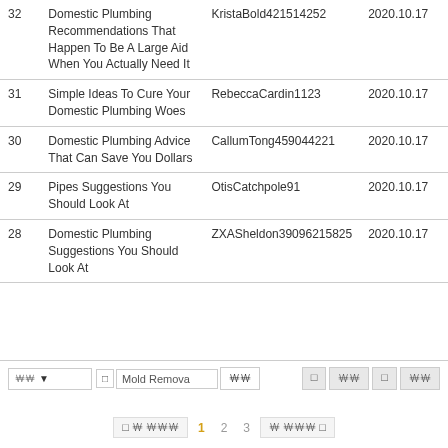| # | Title | Author | Date |
| --- | --- | --- | --- |
| 32 | Domestic Plumbing Recommendations That Happen To Be A Large Aid When You Actually Need It | KristaBold421514252 | 2020.10.17 |
| 31 | Simple Ideas To Cure Your Domestic Plumbing Woes | RebeccaCardin1123 | 2020.10.17 |
| 30 | Domestic Plumbing Advice That Can Save You Dollars | CallumTong459044221 | 2020.10.17 |
| 29 | Pipes Suggestions You Should Look At | OtisCatchpole91 | 2020.10.17 |
| 28 | Domestic Plumbing Suggestions You Should Look At | ZXASheldon39096215825 | 2020.10.17 |
Mold Remova (search bar with controls)
Pagination: 1 2 3